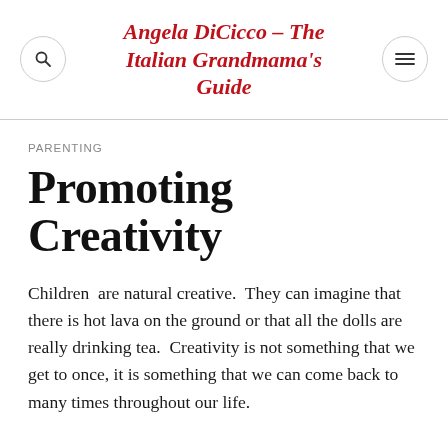Angela DiCicco – The Italian Grandmama's Guide
PARENTING
Promoting Creativity
Children  are natural creative.  They can imagine that there is hot lava on the ground or that all the dolls are really drinking tea.  Creativity is not something that we get to once, it is something that we can come back to many times throughout our life.